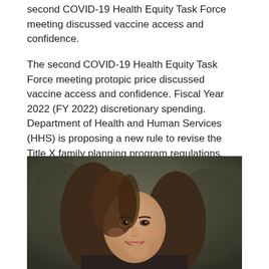second COVID-19 Health Equity Task Force meeting discussed vaccine access and confidence.
The second COVID-19 Health Equity Task Force meeting protopic price discussed vaccine access and confidence. Fiscal Year 2022 (FY 2022) discretionary spending. Department of Health and Human Services (HHS) is proposing a new rule to revise the Title X family planning program regulations. Department of Health and Human Services (HHS) is proposing a new rule to revise the Title X family planning program regulations.
[Figure (photo): Portrait photo of a young woman with long brown hair, smiling, against a dark mottled background.]